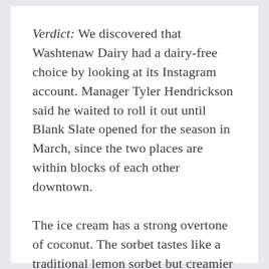Verdict: We discovered that Washtenaw Dairy had a dairy-free choice by looking at its Instagram account. Manager Tyler Hendrickson said he waited to roll it out until Blank Slate opened for the season in March, since the two places are within blocks of each other downtown.
The ice cream has a strong overtone of coconut. The sorbet tastes like a traditional lemon sorbet but creamier than the